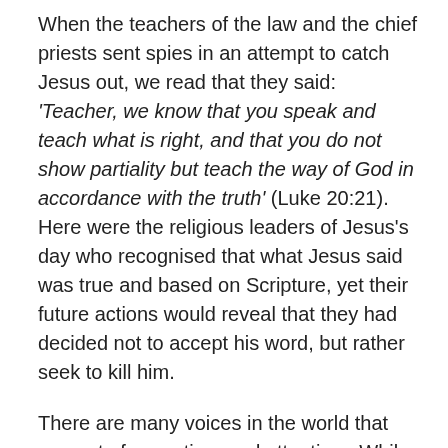When the teachers of the law and the chief priests sent spies in an attempt to catch Jesus out, we read that they said: 'Teacher, we know that you speak and teach what is right, and that you do not show partiality but teach the way of God in accordance with the truth' (Luke 20:21).  Here were the religious leaders of Jesus's day who recognised that what Jesus said was true and based on Scripture, yet their future actions would reveal that they had decided not to accept his word, but rather seek to kill him.
There are many voices in the world that compete for our time and attention.  While many will be innocent, being a distraction for a short time, there are others that the Devil will seek to use to divert attention away from what is of eternal importance.  What about you?  Do you listen to what Jesus says and then put it into practice in your life?  Have you allowed yourself to be distracted by things that